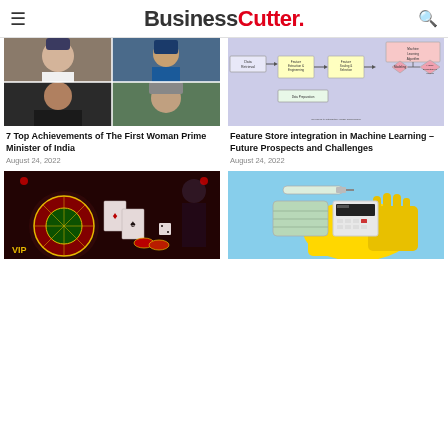BusinessCutter.
[Figure (photo): Collage of four people including Mother Teresa, a cricket player, a young woman, and an elderly woman]
7 Top Achievements of The First Woman Prime Minister of India
August 24, 2022
[Figure (flowchart): Machine learning process flowchart showing Data Retrieval, Feature Extraction & Engineering, Feature Scaling & Selection, Modeling, Model Evaluation & Tuning, and Data Preparation steps]
Feature Store integration in Machine Learning – Future Prospects and Challenges
August 24, 2022
[Figure (photo): Casino scene with roulette wheel, playing cards, dice, and a woman in background]
[Figure (photo): Medical/cleaning items: yellow rubber gloves, face mask, calculator on blue background]